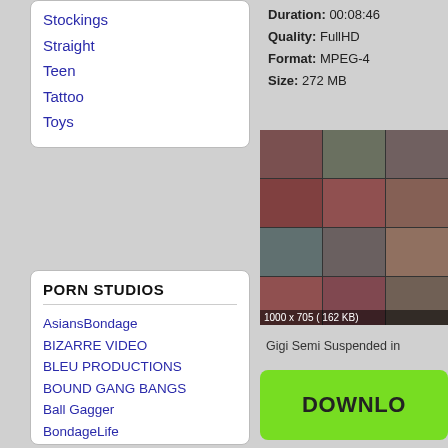Stockings
Straight
Teen
Tattoo
Toys
PORN STUDIOS
AsiansBondage
BIZARRE VIDEO
BLEU PRODUCTIONS
BOUND GANG BANGS
Ball Gagger
BondageLife
BoundGangBangs
BrutalMaster
BrutalSessions
CumBots
DDF NETWOR
DEVIANT HARDCORE
DEVICE BONDAGE
DIGITAL SIN
Duration: 00:08:46
Quality: FullHD
Format: MPEG-4
Size: 272 MB
[Figure (photo): Video thumbnail grid showing 12 preview images, 3x4 grid, labeled 1000 x 705 (162 KB)]
Gigi Semi Suspended in
DOWNLOAD